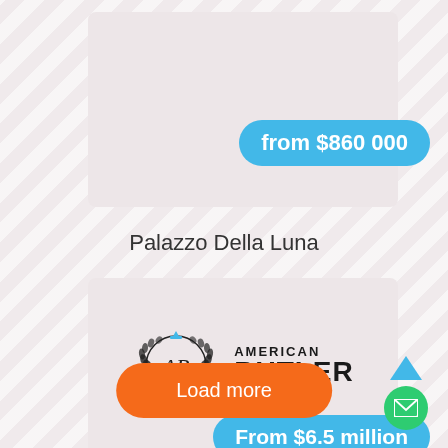[Figure (screenshot): Mobile app screenshot showing real estate listings with price badges, American Butler logo, Load more button and navigation icons]
from $860 000
Palazzo Della Luna
[Figure (logo): American Butler logo with laurel wreath, AB monogram and crown]
From $6.5 million
Load more